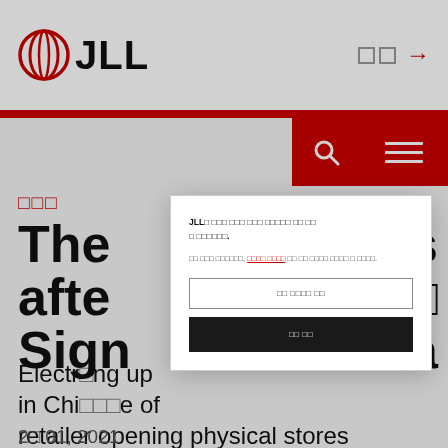[Figure (logo): JLL company logo with red circular icon and bold JLL text]
JLL header navigation with logo, language/navigation icons, search and menu buttons
□□□
The □□□ lls after □□□ Sign□□□ na
Electr□□□ ng up in Chi□□□ e of retailer opening physical stores
2□ 01, 2021
JLL□ □□□ □□□ □□□ □□□□□ □□ □□□ □□□□□□.
□□ □□□ □□□□□□, □□□□ □□□□ □□ □□ □□□□ □□□□ □ □□□□.
□□ □□□□ □□
□□ □□